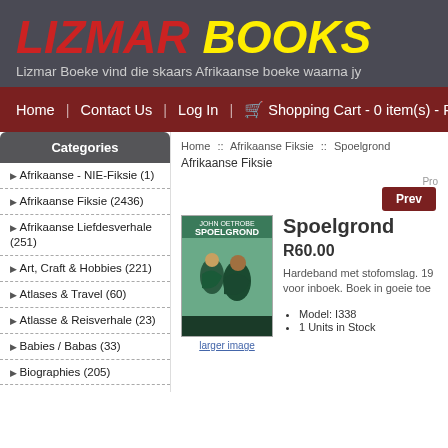LIZMAR BOOKS
Lizmar Boeke vind die skaars Afrikaanse boeke waarna jy
Home | Contact Us | Log In | Shopping Cart - 0 item(s) - R0.00
Categories
Afrikaanse - NIE-Fiksie (1)
Afrikaanse Fiksie (2436)
Afrikaanse Liefdesverhale (251)
Art, Craft & Hobbies (221)
Atlases & Travel (60)
Atlasse & Reisverhale (23)
Babies / Babas (33)
Biographies (205)
Home :: Afrikaanse Fiksie :: Spoelgrond
Afrikaanse Fiksie
[Figure (photo): Book cover of Spoelgrond with illustrated figures]
larger image
Spoelgrond
R60.00
Hardeband met stofomslag. 19... voor inboek. Boek in goeie toe
Model: I338
1 Units in Stock